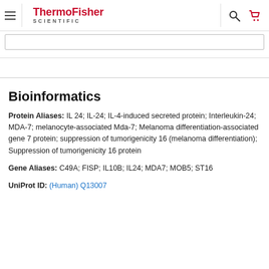ThermoFisher SCIENTIFIC
Bioinformatics
Protein Aliases: IL 24; IL-24; IL-4-induced secreted protein; Interleukin-24; MDA-7; melanocyte-associated Mda-7; Melanoma differentiation-associated gene 7 protein; suppression of tumorigenicity 16 (melanoma differentiation); Suppression of tumorigenicity 16 protein
Gene Aliases: C49A; FISP; IL10B; IL24; MDA7; MOB5; ST16
UniProt ID: (Human) Q13007